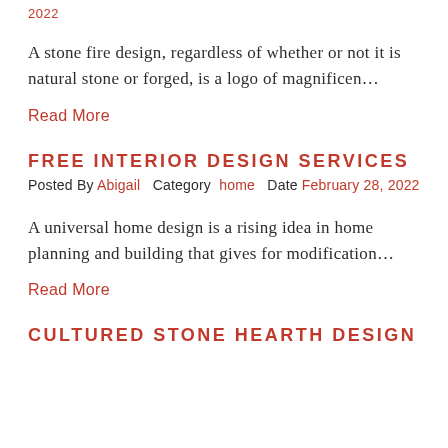2022
A stone fire design, regardless of whether or not it is natural stone or forged, is a logo of magnificen…
Read More
FREE INTERIOR DESIGN SERVICES
Posted By Abigail   Category  home   Date February 28, 2022
A universal home design is a rising idea in home planning and building that gives for modification…
Read More
CULTURED STONE HEARTH DESIGN